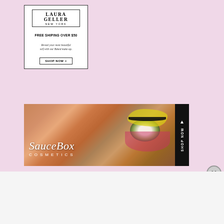[Figure (advertisement): Laura Geller New York advertisement. White box with brand logo, text 'FREE SHIPING OVER $50', 'Reveal your most beautiful self with our Baked make-up.', and 'SHOP NOW >' button.]
[Figure (advertisement): SauceBox Cosmetics advertisement. Dark banner with close-up photo of a woman's eye with dramatic colorful makeup (yellow, orange, pink eyeshadow). White script text 'SauceBox' and 'COSMETICS'. Vertical 'SHOP NOW' tab on right side.]
Advertisements
[Figure (advertisement): Dark navy advertisement banner with stars: 'Create surveys, polls, quizzes, and forms.' with WordPress logo and a circular icon on the right.]